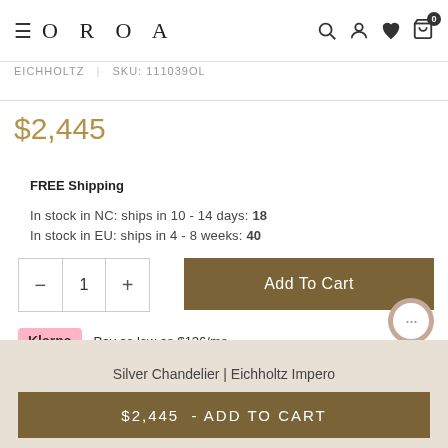OROA
EICHHOLTZ | SKU: 111039OL
$2,445
FREE Shipping
In stock in NC: ships in 10 - 14 days: 18
In stock in EU: ships in 4 - 8 weeks: 40
1
Add To Cart
Pay as low as $136/mo.
Silver Chandelier | Eichholtz Impero
$2,445  - ADD TO CART